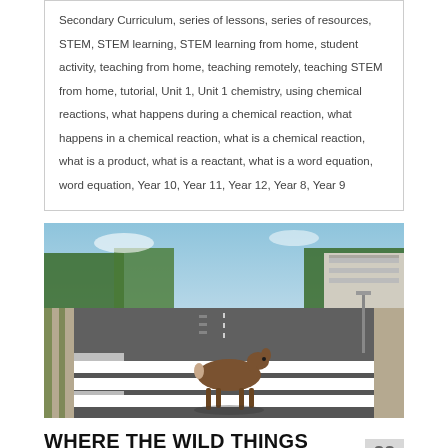Secondary Curriculum, series of lessons, series of resources, STEM, STEM learning, STEM learning from home, student activity, teaching from home, teaching remotely, teaching STEM from home, tutorial, Unit 1, Unit 1 chemistry, using chemical reactions, what happens during a chemical reaction, what happens in a chemical reaction, what is a chemical reaction, what is a product, what is a reactant, what is a word equation, word equation, Year 10, Year 11, Year 12, Year 8, Year 9
[Figure (photo): A deer crossing a zebra crossing on an empty wide road lined with trees, with a building visible on the right side. Clear daytime scene.]
WHERE THE WILD THINGS ARE: 22